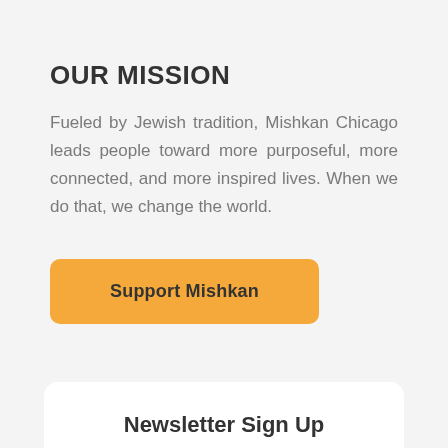OUR MISSION
Fueled by Jewish tradition, Mishkan Chicago leads people toward more purposeful, more connected, and more inspired lives. When we do that, we change the world.
Support Mishkan
Newsletter Sign Up